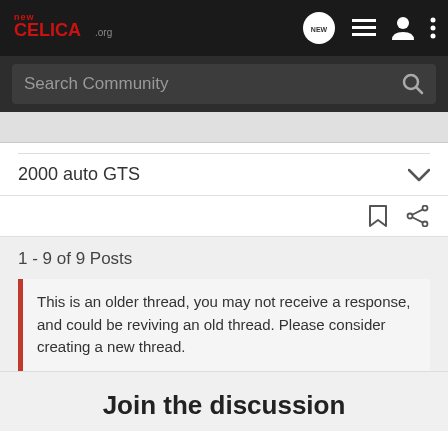NewCelica.org - navigation bar with search
2000 auto GTS
1 - 9 of 9 Posts
This is an older thread, you may not receive a response, and could be reviving an old thread. Please consider creating a new thread.
Join the discussion